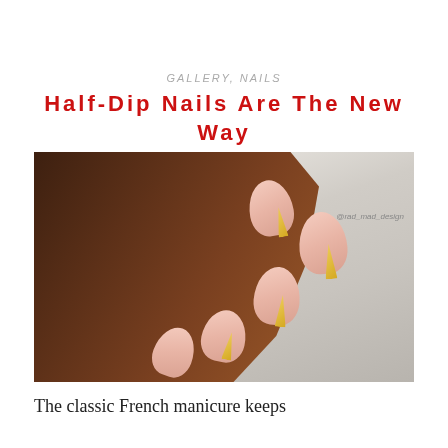GALLERY, NAILS
Half-Dip Nails Are The New Way To Do French Manicures
[Figure (photo): Close-up photograph of a dark-skinned hand with pink almond-shaped nails featuring gold half-dip French manicure tips and thin black line accents, displayed against a marble background. Watermark reads @rad_mad_design.]
The classic French manicure keeps